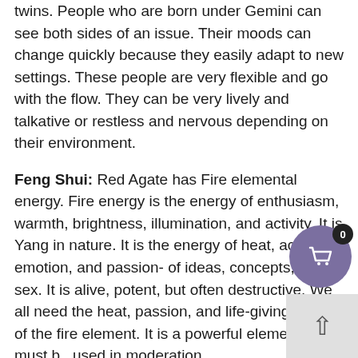twins. People who are born under Gemini can see both sides of an issue. Their moods can change quickly because they easily adapt to new settings. These people are very flexible and go with the flow. They can be very lively and talkative or restless and nervous depending on their environment.
Feng Shui: Red Agate has Fire elemental energy. Fire energy is the energy of enthusiasm, warmth, brightness, illumination, and activity. It is Yang in nature. It is the energy of heat, action, emotion, and passion- of ideas, concepts, and sex. It is alive, potent, but often destructive. We all need the heat, passion, and life-giving energy of the fire element. It is a powerful element that must be used in moderation.
Other Information: In ancient times, Agate was worn to placate the gods and to give